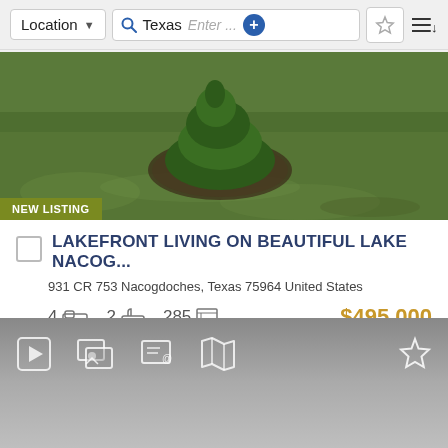[Figure (screenshot): Mobile real estate app top navigation bar with Location dropdown, Texas search field with Enter... placeholder and plus button, star/favorites button, and sort icon]
[Figure (photo): Aerial or ground-level photo of a green lawn with a small evergreen shrub/tree in a circular mulched bed, with a 'NEW LISTING' badge overlaid at bottom left]
LAKEFRONT LIVING ON BEAUTIFUL LAKE NACOG...
931 CR 753 Nacogdoches, Texas 75964 United States
4 [bed icon] 2 [bath icon] 285 [area icon] $495,000
[Figure (screenshot): Bottom navigation bar with play, gallery, contact, map icons and star/favorite icon on gray gradient background]